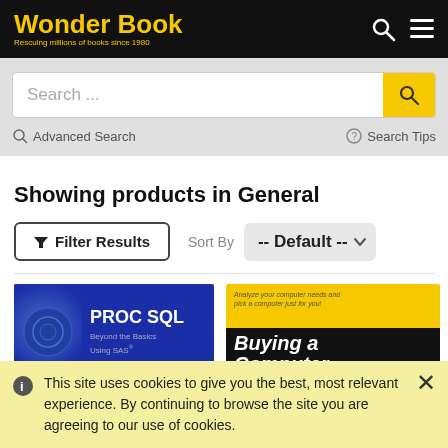Wonder Book — Rescuing millions of books since 1980
Search ...
Advanced Search | Search Tips
Showing products in General
Filter Results | Sort By -- Default --
[Figure (screenshot): PROC SQL Beyond the Basics Using SAS book cover — blue background with white text]
[Figure (screenshot): Buying a Computer book cover — yellow and black For Dummies style cover]
This site uses cookies to give you the best, most relevant experience. By continuing to browse the site you are agreeing to our use of cookies.